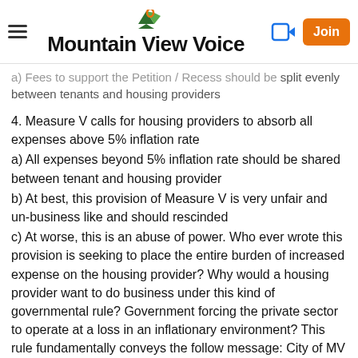Mountain View Voice
a) Fees to support the Petition / Recess should be split evenly between tenants and housing providers
4. Measure V calls for housing providers to absorb all expenses above 5% inflation rate
a) All expenses beyond 5% inflation rate should be shared between tenant and housing provider
b) At best, this provision of Measure V is very unfair and un-business like and should rescinded
c) At worse, this is an abuse of power. Who ever wrote this provision is seeking to place the entire burden of increased expense on the housing provider? Why would a housing provider want to do business under this kind of governmental rule? Government forcing the private sector to operate at a loss in an inflationary environment? This rule fundamentally conveys the follow message: City of MV want to wants the mom and pop operator to